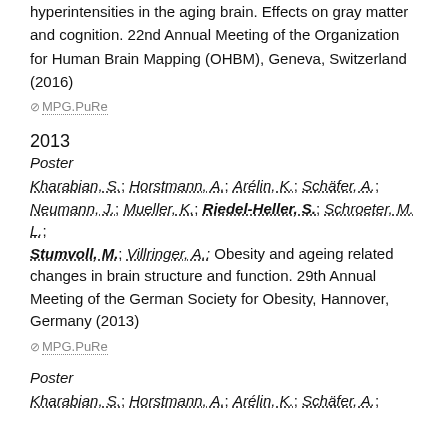hyperintensities in the aging brain. Effects on gray matter and cognition. 22nd Annual Meeting of the Organization for Human Brain Mapping (OHBM), Geneva, Switzerland (2016)
⊘ MPG.PuRe
2013
Poster
Kharabian, S.; Horstmann, A.; Arélin, K.; Schäfer, A.; Neumann, J.; Mueller, K.; Riedel-Heller, S.; Schroeter, M. L.; Stumvoll, M.; Villringer, A.: Obesity and ageing related changes in brain structure and function. 29th Annual Meeting of the German Society for Obesity, Hannover, Germany (2013)
⊘ MPG.PuRe
Poster
Kharabian, S.; Horstmann, A.; Arélin, K.; Schäfer, A.;